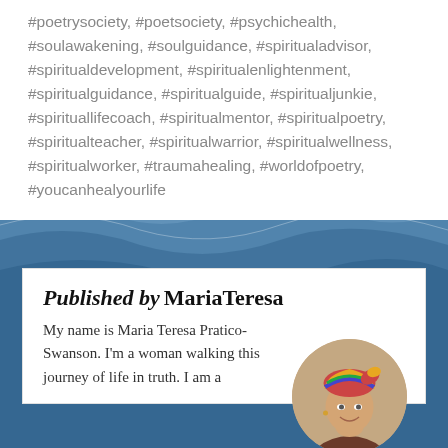#poetrysociety, #poetsociety, #psychichealth, #soulawakening, #soulguidance, #spiritualadvisor, #spiritualdevelopment, #spiritualenlightenment, #spiritualguidance, #spiritualguide, #spiritualjunkie, #spirituallifecoach, #spiritualmentor, #spiritualpoetry, #spiritualteacher, #spiritualwarrior, #spiritualwellness, #spiritualworker, #traumahealing, #worldofpoetry, #youcanhealyourlife
Published by
MariaTeresa
My name is Maria Teresa Pratico-Swanson. I'm a woman walking this journey of life in truth. I am a
[Figure (photo): Circular profile photo of a woman (Maria Teresa) with a colorful head wrap, wearing a dark top, smiling]